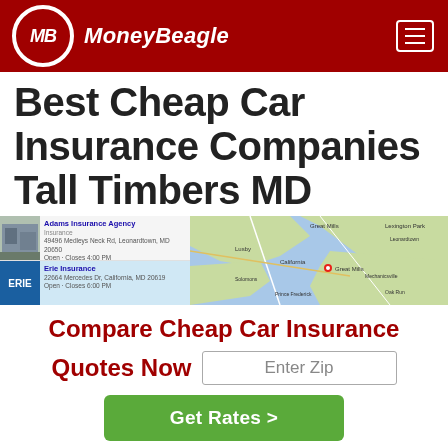[Figure (logo): MoneyBeagle logo with MB initials in circle on dark red header background with hamburger menu icon]
Best Cheap Car Insurance Companies Tall Timbers MD
[Figure (screenshot): Google Maps screenshot showing insurance agencies listing on left (Adams Insurance Agency and Erie Insurance) and a map of Maryland on the right]
Compare Cheap Car Insurance Quotes Now
Enter Zip
Get Rates >